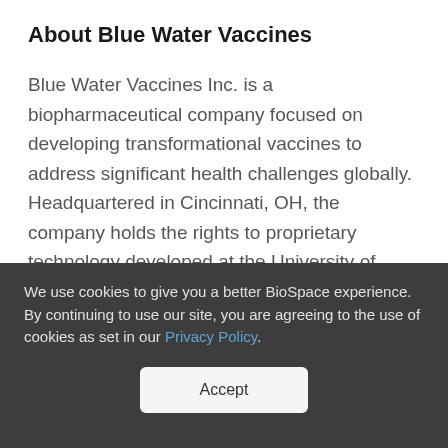About Blue Water Vaccines
Blue Water Vaccines Inc. is a biopharmaceutical company focused on developing transformational vaccines to address significant health challenges globally. Headquartered in Cincinnati, OH, the company holds the rights to proprietary technology developed at the University of Oxford, Cincinnati Children's Hospital Medical Center (CCHMC), and St. Jude Children's Hospital. The
We use cookies to give you a better BioSpace experience. By continuing to use our site, you are agreeing to the use of cookies as set in our Privacy Policy.
Accept